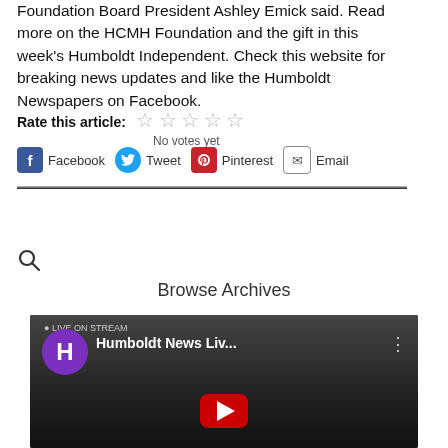Foundation Board President Ashley Emick said. Read more on the HCMH Foundation and the gift in this week's Humboldt Independent. Check this website for breaking news updates and like the Humboldt Newspapers on Facebook.
Rate this article: No votes yet
Facebook  Tweet  Pinterest  Email
[Figure (screenshot): Search Articles input box with search icon below]
Browse Archives
[Figure (screenshot): YouTube video thumbnail for Humboldt News Liv... with purple H avatar, play button, and vertical dots menu]